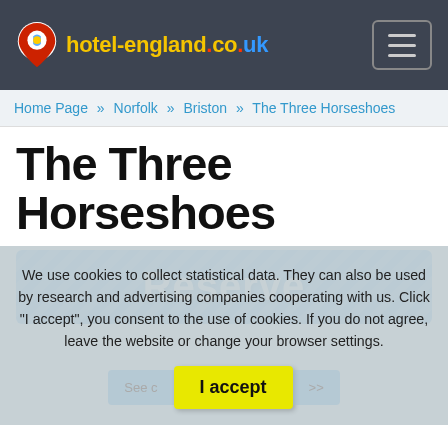hotel-england.co.uk
Home Page » Norfolk » Briston » The Three Horseshoes
The Three Horseshoes
[Figure (other): Blue striped Reserve button banner]
We use cookies to collect statistical data. They can also be used by research and advertising companies cooperating with us. Click "I accept", you consent to the use of cookies. If you do not agree, leave the website or change your browser settings.
I accept